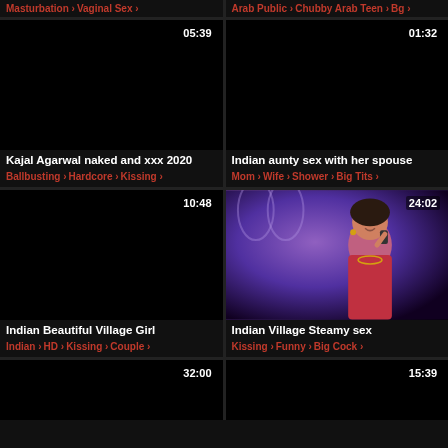Masturbation › Vaginal Sex ›
Arab Public › Chubby Arab Teen › Bg
[Figure (photo): Black thumbnail, duration 05:39]
Kajal Agarwal naked and xxx 2020
Ballbusting › Hardcore › Kissing ›
[Figure (photo): Black thumbnail, duration 01:32]
Indian aunty sex with her spouse
Mom › Wife › Shower › Big Tits
[Figure (photo): Black thumbnail, duration 10:48]
Indian Beautiful Village Girl
Indian › HD › Kissing › Couple ›
[Figure (photo): Woman in red dress on phone, purple background, duration 24:02]
Indian Village Steamy sex
Kissing › Funny › Big Cock ›
[Figure (photo): Black thumbnail, duration 32:00]
[Figure (photo): Black thumbnail, duration 15:39]